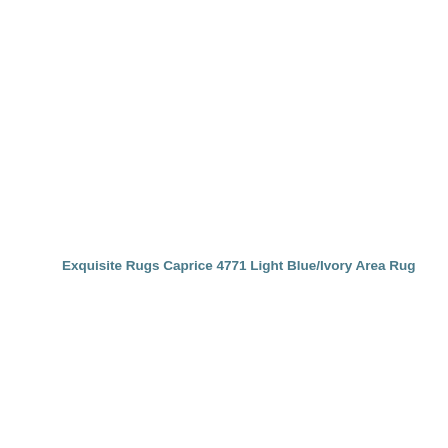Exquisite Rugs Caprice 4771 Light Blue/Ivory Area Rug